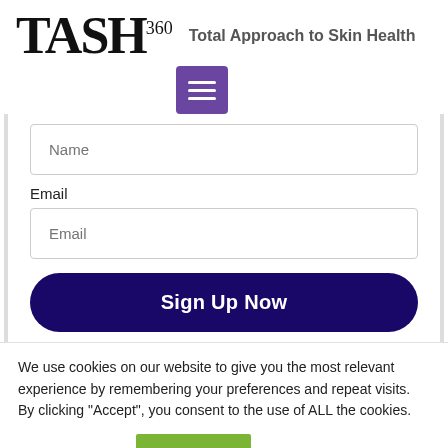[Figure (logo): TASH360 logo with text 'Total Approach to Skin Health' and purple hamburger menu button]
Name
Email
Email
Sign Up Now
We use cookies on our website to give you the most relevant experience by remembering your preferences and repeat visits. By clicking "Accept", you consent to the use of ALL the cookies.
Cookie settings
ACCEPT